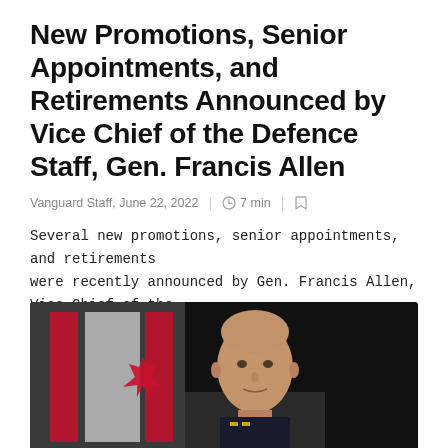New Promotions, Senior Appointments, and Retirements Announced by Vice Chief of the Defence Staff, Gen. Francis Allen
Vanguard Staff, June 22, 2022  |  7 min  |  ▢
Several new promotions, senior appointments, and retirements were recently announced by Gen. Francis Allen, Vice Chief of the Defence Staff....
[Figure (photo): Official portrait photograph of Gen. Francis Allen in military dress uniform, bald head, serious expression, with a Canadian flag visible on the left side and dark background.]